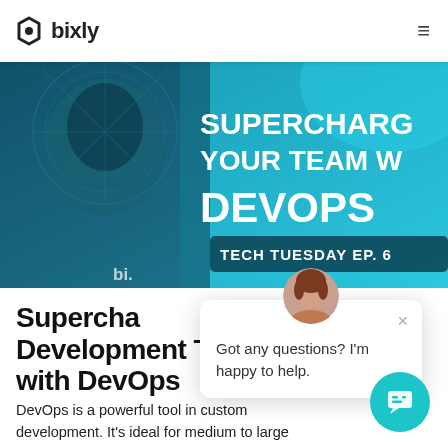bixly
[Figure (screenshot): Hero banner image: a man with beard and glasses on blue gradient background with white bold text reading 'SUPERCHARGE YOUR TEAM W DEVOPS' and a label 'TECH TUESDAY EP. 6']
Supercharging Your Development Team with DevOps
DevOps is a powerful tool in custom development. It's ideal for medium to large
[Figure (other): Live chat overlay popup with a female avatar, close button, and message: 'Got any questions? I'm happy to help.']
[Figure (other): Teal circular chat bubble button with chat icon in bottom right corner]